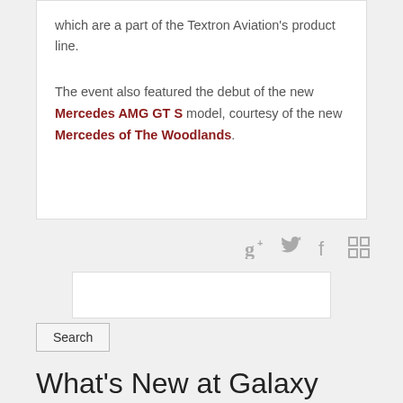which are a part of the Textron Aviation's product line.
The event also featured the debut of the new Mercedes AMG GT S model, courtesy of the new Mercedes of The Woodlands.
[Figure (other): Social sharing icons: Google+, Twitter, Facebook, and a grid/share icon]
Search
What's New at Galaxy FBO?
Annual Runway Safety Action Team (RSAT) Meeting